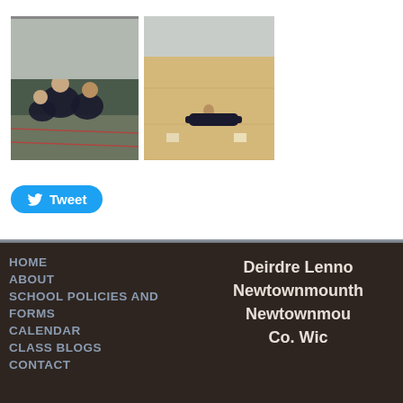[Figure (photo): Two photos side by side: left shows children in dark uniforms crouching/sitting on a gymnasium floor; right shows a child lying flat on a wooden gymnasium floor.]
Tweet
0 Comments
HOME
ABOUT
SCHOOL POLICIES AND FORMS
CALENDAR
CLASS BLOGS
CONTACT

Deirdre Lenno
Newtownmounth
Newtownmou
Co. Wic